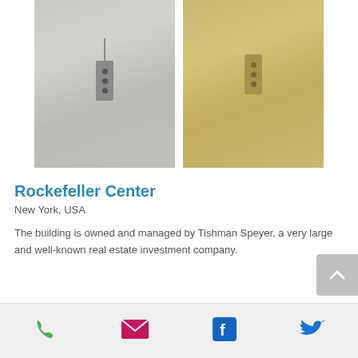[Figure (photo): Two elevator doors side by side — left one silver/grey finish, right one gold/brass finish, each with a small rectangular button panel]
Rockefeller Center
New York, USA
The building is owned and managed by Tishman Speyer, a very large and well-known real estate investment company.
[Figure (infographic): Footer bar with four icons: phone (green), email/envelope (magenta), Facebook (blue), Twitter (blue)]